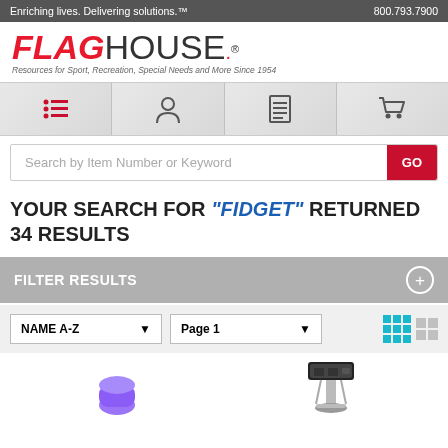Enriching lives. Delivering solutions.™  800.793.7900
[Figure (logo): FlagHouse logo with red italic FLAG and gray HOUSE text, with registered trademark symbol and tagline 'Resources for Sport, Recreation, Special Needs and More Since 1954']
[Figure (screenshot): Navigation bar with four icons: list/menu icon (red), user/account icon, document/catalog icon, and shopping cart icon on patterned gray background]
Search by Item Number or Keyword  GO
YOUR SEARCH FOR "FIDGET" RETURNED 34 RESULTS
FILTER RESULTS +
NAME A-Z  Page 1
[Figure (photo): Two product thumbnail images partially visible at bottom: a purple fidget tool on the left, and a black chair/stool on the right]